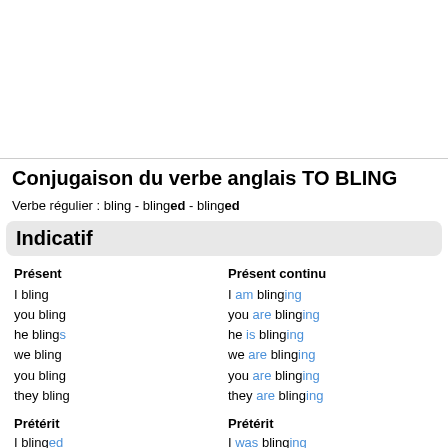Conjugaison du verbe anglais TO BLING
Verbe régulier : bling - blinged - blinged
Indicatif
| Présent | Présent continu |
| --- | --- |
| I bling | I am blinging |
| you bling | you are blinging |
| he blings | he is blinging |
| we bling | we are blinging |
| you bling | you are blinging |
| they bling | they are blinging |
| Prétérit | Prétérit |
| --- | --- |
| I blinged | I was blinging |